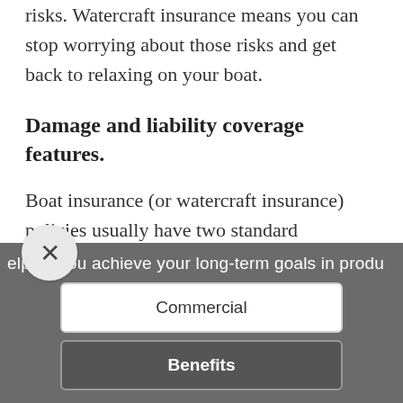risks. Watercraft insurance means you can stop worrying about those risks and get back to relaxing on your boat.
Damage and liability coverage features.
Boat insurance (or watercraft insurance) policies usually have two standard elements, with two optional extras that are worth
elping you achieve your long-term goals in produ
Commercial
Benefits